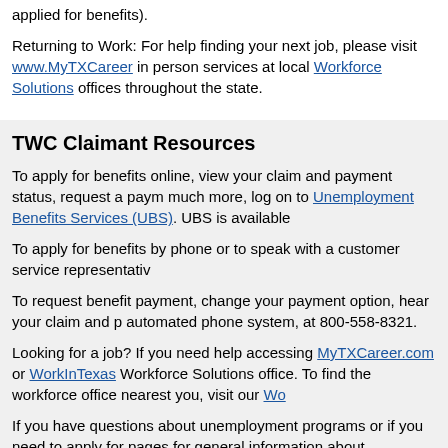applied for benefits).
Returning to Work: For help finding your next job, please visit www.MyTXCareer in person services at local Workforce Solutions offices throughout the state.
TWC Claimant Resources
To apply for benefits online, view your claim and payment status, request a paym much more, log on to Unemployment Benefits Services (UBS). UBS is available
To apply for benefits by phone or to speak with a customer service representativ
To request benefit payment, change your payment option, hear your claim and p automated phone system, at 800-558-8321.
Looking for a job? If you need help accessing MyTXCareer.com or WorkInTexas Workforce Solutions office. To find the workforce office nearest you, visit our Wo
If you have questions about unemployment programs or if you need to apply for pages for general information about unemployment benefits, eligibility, benefit a
For help in preparing to apply for benefits, review our tutorials on our Unemploy have tutorials on how to: